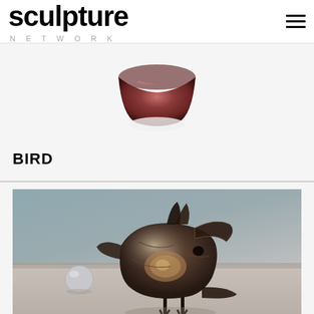sculpture network
[Figure (photo): Partial view of a reddish-maroon stone or ceramic sculpture on a white background, cropped at top]
BIRD
[Figure (photo): A dark metallic bird sculpture made of folded and hammered metal pieces, standing on thin legs, photographed in a gallery space with a small silver ball in the background]